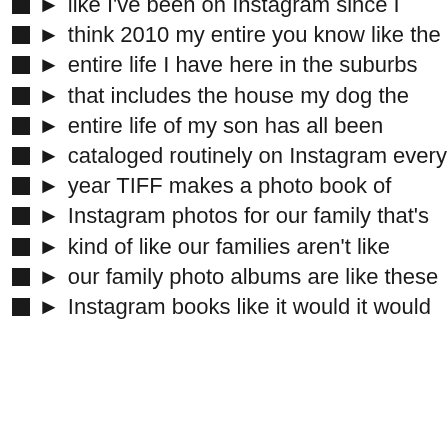like I've been on Instagram since I
think 2010 my entire you know like the
entire life I have here in the suburbs
that includes the house my dog the
entire life of my son has all been
cataloged routinely on Instagram every
year TIFF makes a photo book of
Instagram photos for our family that's
kind of like our families aren't like
our family photo albums are like these
Instagram books like it would it would